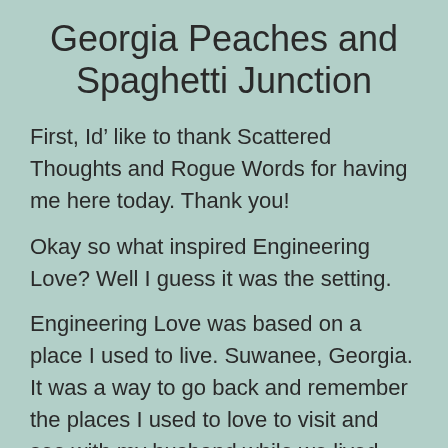Georgia Peaches and Spaghetti Junction
First, Id’ like to thank Scattered Thoughts and Rogue Words for having me here today. Thank you!
Okay so what inspired Engineering Love? Well I guess it was the setting.
Engineering Love was based on a place I used to live. Suwanee, Georgia. It was a way to go back and remember the places I used to love to visit and see with my husband while we lived there for six years. The Suwanee Trail...